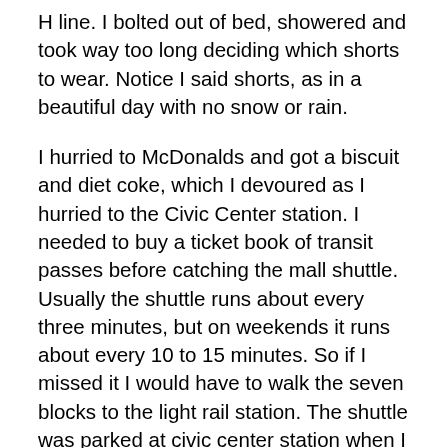H line. I bolted out of bed, showered and took way too long deciding which shorts to wear. Notice I said shorts, as in a beautiful day with no snow or rain.
I hurried to McDonalds and got a biscuit and diet coke, which I devoured as I hurried to the Civic Center station. I needed to buy a ticket book of transit passes before catching the mall shuttle. Usually the shuttle runs about every three minutes, but on weekends it runs about every 10 to 15 minutes. So if I missed it I would have to walk the seven blocks to the light rail station. The shuttle was parked at civic center station when I arrived, a good sign because it usually idled there for a while waiting until its next run. I darted inside and raced to the ticket dispenser, only to see the red light flashing, indicating the book I needed was sold out. I noticed a second dispenser, but it had a note taped to it stating it was cash only. Damn. I